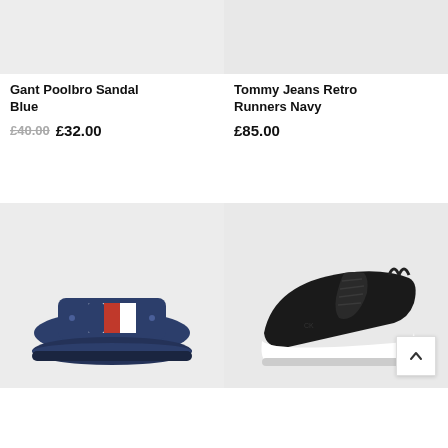[Figure (photo): Top portion of Gant Poolbro Sandal Blue product image on light grey background]
[Figure (photo): Top portion of Tommy Jeans Retro Runners Navy product image on light grey background]
Gant Poolbro Sandal Blue
£40.00  £32.00
Tommy Jeans Retro Runners Navy
£85.00
[Figure (photo): Navy blue Tommy Hilfiger pool slides/sandals with flag logo on light grey background]
[Figure (photo): Black Tommy Hilfiger retro runners/sneakers on light grey background]